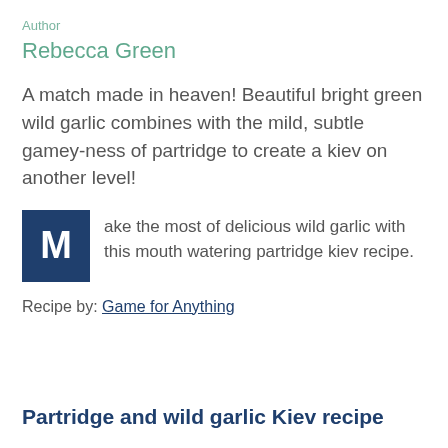Author
Rebecca Green
A match made in heaven! Beautiful bright green wild garlic combines with the mild, subtle gamey-ness of partridge to create a kiev on another level!
Make the most of delicious wild garlic with this mouth watering partridge kiev recipe.
Recipe by: Game for Anything
Partridge and wild garlic Kiev recipe